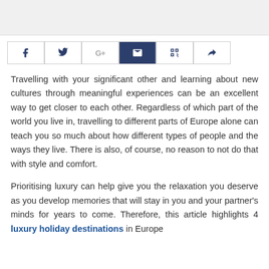[Figure (other): Top banner image area (gray/light background header image strip)]
[Figure (other): Social sharing buttons row: Facebook, Twitter, Google+, Email, QR code, Share/forward icons]
Travelling with your significant other and learning about new cultures through meaningful experiences can be an excellent way to get closer to each other. Regardless of which part of the world you live in, travelling to different parts of Europe alone can teach you so much about how different types of people and the ways they live. There is also, of course, no reason to not do that with style and comfort.
Prioritising luxury can help give you the relaxation you deserve as you develop memories that will stay in you and your partner's minds for years to come. Therefore, this article highlights 4 luxury holiday destinations in Europe